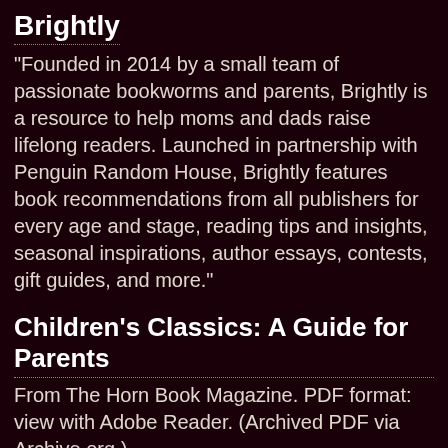Brightly
"Founded in 2014 by a small team of passionate bookworms and parents, Brightly is a resource to help moms and dads raise lifelong readers. Launched in partnership with Penguin Random House, Brightly features book recommendations from all publishers for every age and stage, reading tips and insights, seasonal inspirations, author essays, contests, gift guides, and more."
Children's Classics: A Guide for Parents
From The Horn Book Magazine. PDF format: view with Adobe Reader. (Archived PDF via Archive.org.)
Children's Picture Book Database
"Our database contains abstracts of over 5000